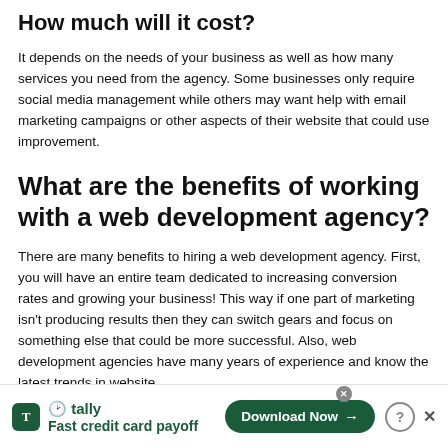How much will it cost?
It depends on the needs of your business as well as how many services you need from the agency. Some businesses only require social media management while others may want help with email marketing campaigns or other aspects of their website that could use improvement.
What are the benefits of working with a web development agency?
There are many benefits to hiring a web development agency. First, you will have an entire team dedicated to increasing conversion rates and growing your business! This way if one part of marketing isn't producing results then they can switch gears and focus on something else that could be more successful. Also, web development agencies have many years of experience and know the latest trends in website
[Figure (other): Advertisement banner for Tally app showing 'Fast credit card payoff' with a Download Now button]